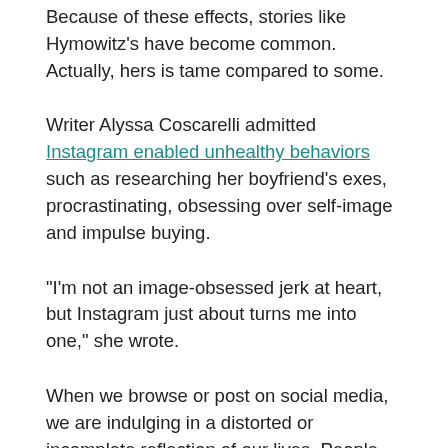Because of these effects, stories like Hymowitz's have become common. Actually, hers is tame compared to some.
Writer Alyssa Coscarelli admitted Instagram enabled unhealthy behaviors such as researching her boyfriend's exes, procrastinating, obsessing over self-image and impulse buying.
“I’m not an image-obsessed jerk at heart, but Instagram just about turns me into one,” she wrote.
When we browse or post on social media, we are indulging in a distorted or incomplete reflection of our lives. People can post photos and comments without editing them, but #nofilter does not exist on social media.
Maybe it’s time we think about using social media in a